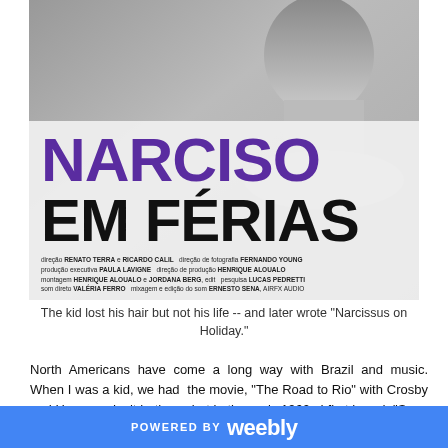[Figure (photo): Movie poster for 'Narciso em Férias' showing the title in large bold type — 'NARCISO' in purple and 'EM FÉRIAS' in black — over a black and white photo of a person's profile/silhouette, with film credits in small text at the bottom of the poster.]
The kid lost his hair but not his life -- and later wrote "Narcissus on Holiday."
North Americans have come a long way with Brazil and music. When I was a kid, we had the movie, "The Road to Rio" with Crosby and Hope – don't bother – but in the early 1960s I first heard "Song of the Jet," (Samba do Avião) a Tom Jobim song, sung by Tony Bennett, about a jet landing in Rio. Now we were getting
POWERED BY weebly